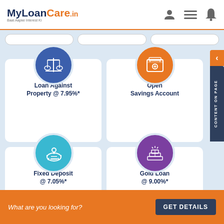MyLoanCare.in Baat Aapke Interest Ki
[Figure (infographic): Loan Against Property card with blue circle icon showing balance scale, rate 7.95%*]
[Figure (infographic): Open Savings Account card with orange circle icon showing safe/vault]
[Figure (infographic): Fixed Deposit card with cyan circle icon showing piggy bank, rate 7.05%*]
[Figure (infographic): Gold Loan card with purple circle icon showing gold bars, rate 9.00%*]
Other SBI Branches In Surguja
What are you looking for?
GET DETAILS